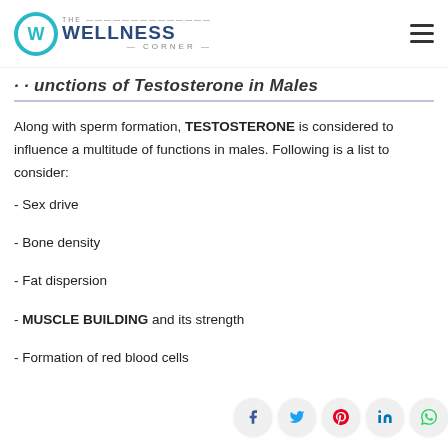THE WELLNESS CORNER
Functions of Testosterone in Males
Along with sperm formation, TESTOSTERONE is considered to influence a multitude of functions in males. Following is a list to consider:
- Sex drive
- Bone density
- Fat dispersion
- MUSCLE BUILDING and its strength
- Formation of red blood cells